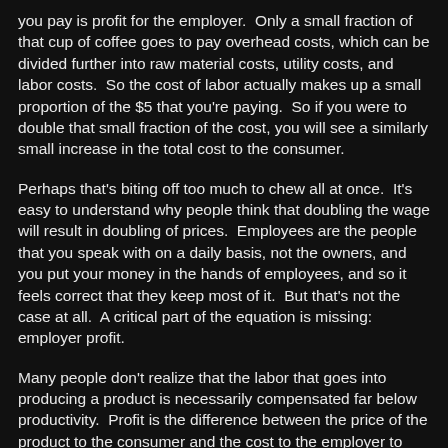you pay is profit for the employer.  Only a small fraction of that cup of coffee goes to pay overhead costs, which can be divided further into raw material costs, utility costs, and labor costs.  So the cost of labor actually makes up a small proportion of the $5 that you're paying.  So if you were to double that small fraction of the cost, you will see a similarly small increase in the total cost to the consumer.
Perhaps that's biting off too much to chew all at once.  It's easy to understand why people think that doubling the wage will result in doubling of prices.  Employees are the people that you speak with on a daily basis, not the owners, and you put your money in the hands of employees, and so it feels correct that they keep most of it.  But that's not the case at all.  A critical part of the equation is missing: employer profit.
Many people don't realize that the labor that goes into producing a product is necessarily compensated far below productivity.  Profit is the difference between the price of the product to the consumer and the cost to the employer to make that product.  So the cost of labor needs to be less than the cost to the consumer minus raw materials.